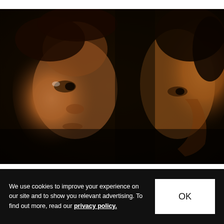[Figure (photo): Close-up photo of two people facing each other in low/dark lighting. On the left is a person with shoulder-length hair facing right, and on the right is a person in profile facing left. The image has a warm, dark tone.]
We use cookies to improve your experience on our site and to show you relevant advertising. To find out more, read our privacy policy.